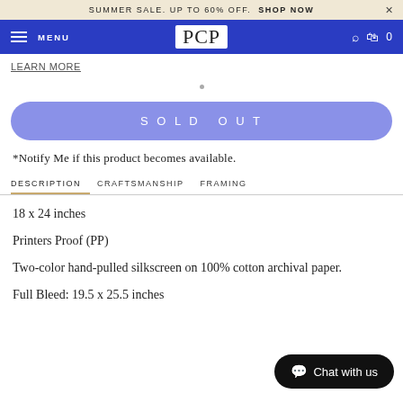SUMMER SALE. UP TO 60% OFF. SHOP NOW
MENU  PCP  0
LEARN MORE
SOLD OUT
*Notify Me if this product becomes available.
DESCRIPTION   CRAFTSMANSHIP   FRAMING
18 x 24 inches
Printers Proof (PP)
Two-color hand-pulled silkscreen on 100% cotton archival paper.
Full Bleed: 19.5 x 25.5 inches
Chat with us